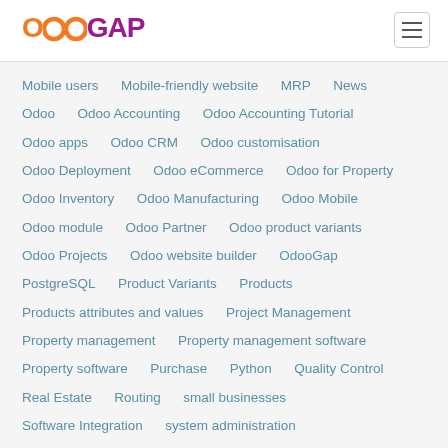OdooGAP
Mobile users
Mobile-friendly website
MRP
News
Odoo
Odoo Accounting
Odoo Accounting Tutorial
Odoo apps
Odoo CRM
Odoo customisation
Odoo Deployment
Odoo eCommerce
Odoo for Property
Odoo Inventory
Odoo Manufacturing
Odoo Mobile
Odoo module
Odoo Partner
Odoo product variants
Odoo Projects
Odoo website builder
OdooGap
PostgreSQL
Product Variants
Products
Products attributes and values
Project Management
Property management
Property management software
Property software
Purchase
Python
Quality Control
Real Estate
Routing
small businesses
Software Integration
system administration